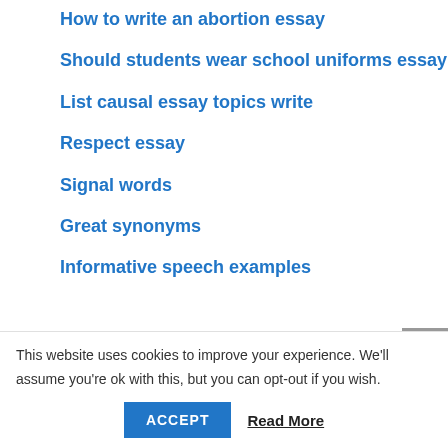How to write an abortion essay
Should students wear school uniforms essay
List causal essay topics write
Respect essay
Signal words
Great synonyms
Informative speech examples
Essay Writing Guide
This website uses cookies to improve your experience. We'll assume you're ok with this, but you can opt-out if you wish.
ACCEPT  Read More